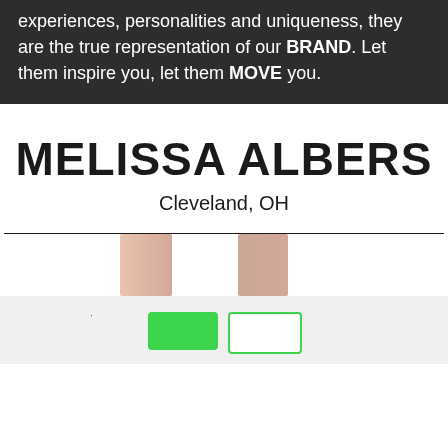experiences, personalities and uniqueness, they are the true representation of our BRAND. Let them inspire you, let them MOVE you.
MELISSA ALBERS
Cleveland, OH
[Figure (photo): Two partial photo thumbnails showing skin/arms against white background]
[Figure (other): Navigation UI with a filled green button and an outlined white button with green border]